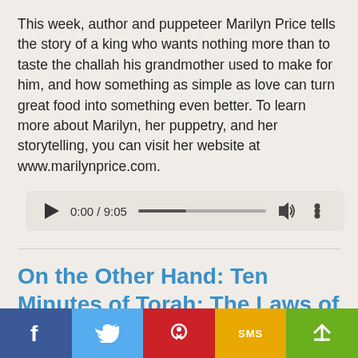This week, author and puppeteer Marilyn Price tells the story of a king who wants nothing more than to taste the challah his grandmother used to make for him, and how something as simple as love can turn great food into something even better. To learn more about Marilyn, her puppetry, and her storytelling, you can visit her website at www.marilynprice.com.
[Figure (screenshot): Audio player widget showing 0:00 / 9:05 with play button, progress bar, volume icon, and more options icon]
On the Other Hand: Ten Minutes of Torah: The Laws of Leviticus, Choice, and A. J. Jacobs, the
[Figure (infographic): Social sharing bar with Facebook, Twitter, Pinterest, SMS, and share buttons]